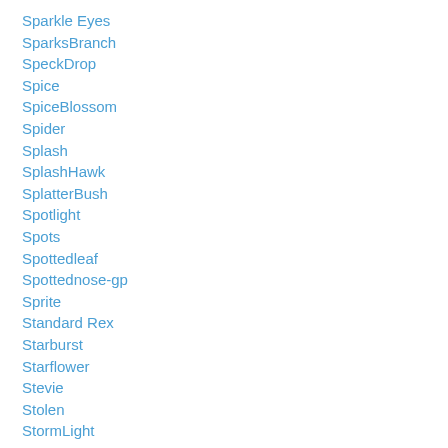Sparkle Eyes
SparksBranch
SpeckDrop
Spice
SpiceBlossom
Spider
Splash
SplashHawk
SplatterBush
Spotlight
Spots
Spottedleaf
Spottednose-gp
Sprite
Standard Rex
Starburst
Starflower
Stevie
Stolen
StormLight